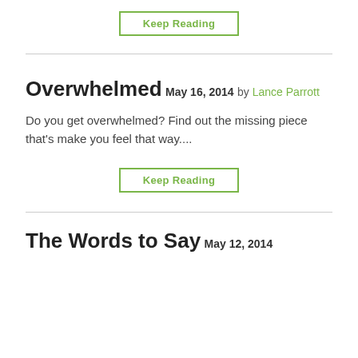Keep Reading
Overwhelmed
May 16, 2014
by Lance Parrott
Do you get overwhelmed? Find out the missing piece that's make you feel that way....
Keep Reading
The Words to Say
May 12, 2014